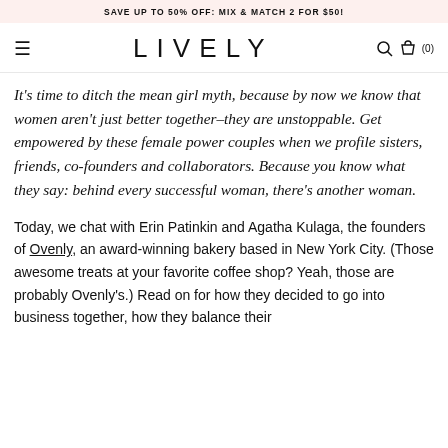SAVE UP TO 50% OFF: MIX & MATCH 2 FOR $50!
LIVELY
It's time to ditch the mean girl myth, because by now we know that women aren't just better together–they are unstoppable. Get empowered by these female power couples when we profile sisters, friends, co-founders and collaborators. Because you know what they say: behind every successful woman, there's another woman.
Today, we chat with Erin Patinkin and Agatha Kulaga, the founders of Ovenly, an award-winning bakery based in New York City. (Those awesome treats at your favorite coffee shop? Yeah, those are probably Ovenly's.) Read on for how they decided to go into business together, how they balance their partnership and friendship, and how they...